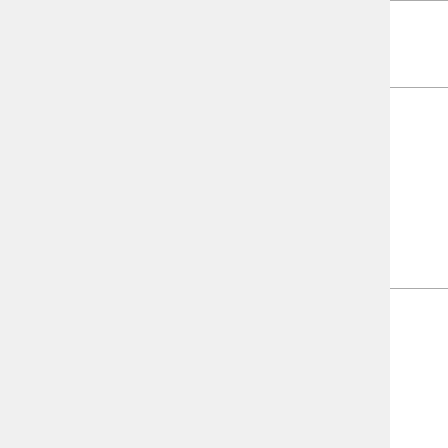| Author(s) | Year | Journal | Reference |
| --- | --- | --- | --- |
|  |  |  | do… |
| Dabon, El-Khoriby, El-Bodhdadi & Hassanein | 2009 | Journal of Constructional Steel Research | Da… Bo… (2… sti… fill… co… St… 18… do… |
| Dai & Lam | 2010 | Steel & Composite Structures | Da… Co… Co… El… Se… St… 53… |
|  |  |  | El… m… |